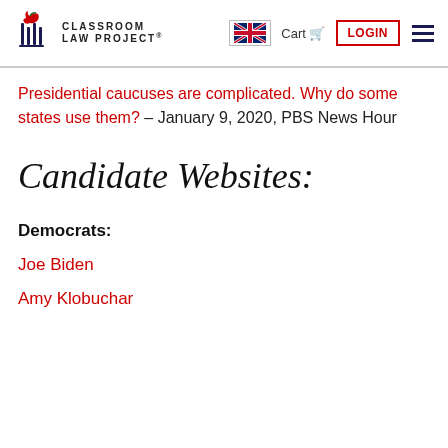Classroom Law Project — Cart  LOGIN
Presidential caucuses are complicated. Why do some states use them? – January 9, 2020, PBS News Hour
Candidate Websites:
Democrats:
Joe Biden
Amy Klobuchar